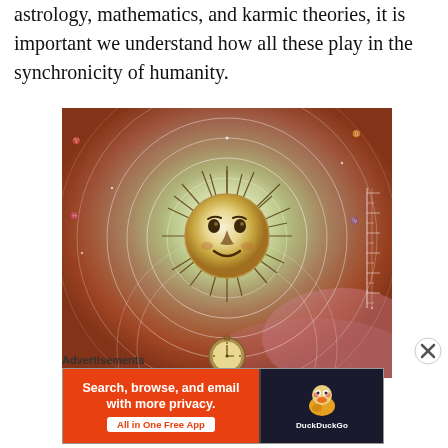astrology, mathematics, and karmic theories, it is important we understand how all these play in the synchronicity of humanity.
[Figure (illustration): Vintage astrology illustration showing a sun with a human face surrounded by concentric circles representing celestial orbits, with a pocket watch at the bottom, rendered in warm orange, yellow, and pink tones with zodiac markings around the edges.]
Advertisements
[Figure (screenshot): DuckDuckGo advertisement banner. Left orange section reads: 'Search, browse, and email with more privacy. All in One Free App'. Right dark section shows the DuckDuckGo duck logo and 'DuckDuckGo' text.]